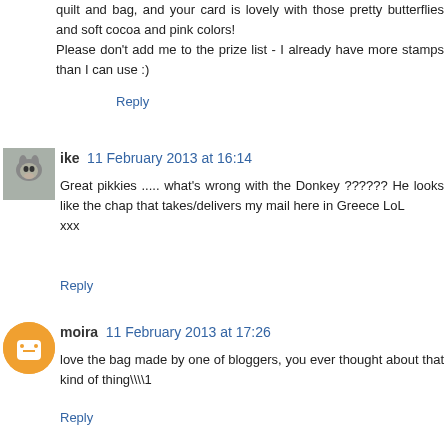quilt and bag, and your card is lovely with those pretty butterflies and soft cocoa and pink colors!
Please don't add me to the prize list - I already have more stamps than I can use :)
Reply
ike  11 February 2013 at 16:14
Great pikkies ..... what's wrong with the Donkey ?????? He looks like the chap that takes/delivers my mail here in Greece LoL
xxx
Reply
moira  11 February 2013 at 17:26
love the bag made by one of bloggers, you ever thought about that kind of thing\\\\1
Reply